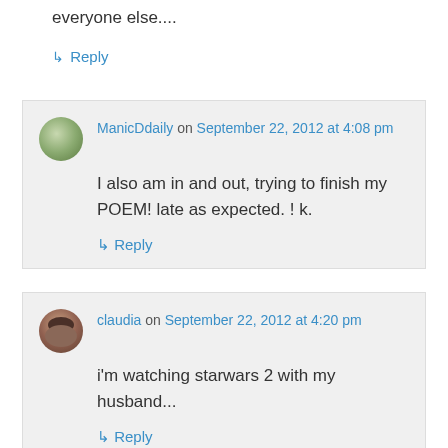everyone else....
↳ Reply
ManicDdaily on September 22, 2012 at 4:08 pm — I also am in and out, trying to finish my POEM! late as expected. ! k. — ↳ Reply
claudia on September 22, 2012 at 4:20 pm — i'm watching starwars 2 with my husband... — ↳ Reply